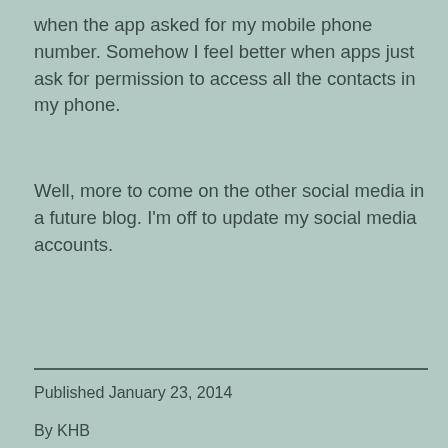when the app asked for my mobile phone number.  Somehow I feel better when apps just ask for permission to access all the contacts in my phone.
Well, more to come on the other social media in a future blog.  I'm off to update my social media accounts.
Published January 23, 2014
By KHB